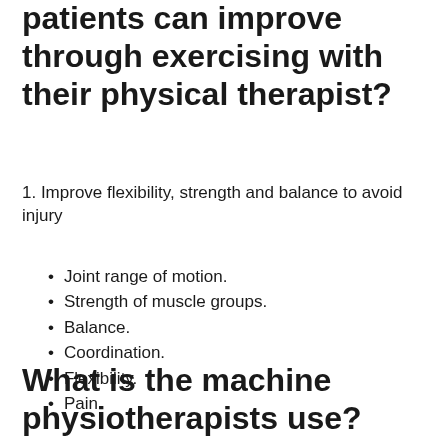patients can improve through exercising with their physical therapist?
1. Improve flexibility, strength and balance to avoid injury
Joint range of motion.
Strength of muscle groups.
Balance.
Coordination.
Flexibility.
Pain.
What is the machine physiotherapists use?